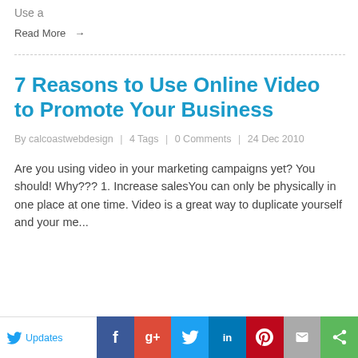Use a
Read More →
7 Reasons to Use Online Video to Promote Your Business
By calcoastwebdesign  |  4 Tags  |  0 Comments  |  24 Dec 2010
Are you using video in your marketing campaigns yet? You should! Why??? 1. Increase salesYou can only be physically in one place at one time. Video is a great way to duplicate yourself and your me...
Updates  [Facebook] [Google+] [Twitter] [LinkedIn] [Pinterest] [Mail] [Share]